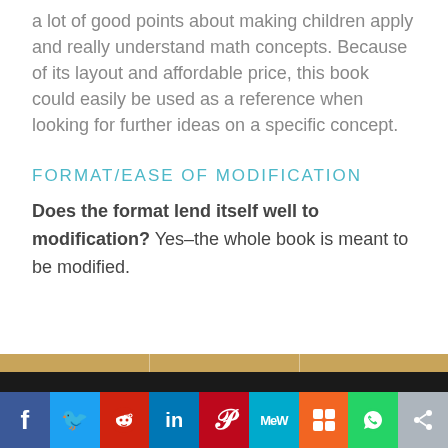a lot of good points about making children apply and really understand math concepts. Because of its layout and affordable price, this book could easily be used as a reference when looking for further ideas on a specific concept.
FORMAT/EASE OF MODIFICATION
Does the format lend itself well to modification? Yes–the whole book is meant to be modified.
[Figure (infographic): Social media sharing bar with icons for Facebook, Twitter, Reddit, LinkedIn, Pinterest, MeWe, Mix, WhatsApp, and a share button. Above the bar is a tan stripe and a dark stripe.]